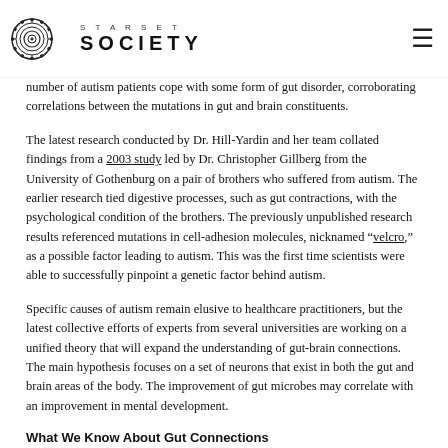STARSET SOCIETY
number of autism patients cope with some form of gut disorder, corroborating correlations between the mutations in gut and brain constituents.
The latest research conducted by Dr. Hill-Yardin and her team collated findings from a 2003 study led by Dr. Christopher Gillberg from the University of Gothenburg on a pair of brothers who suffered from autism. The earlier research tied digestive processes, such as gut contractions, with the psychological condition of the brothers. The previously unpublished research results referenced mutations in cell-adhesion molecules, nicknamed "velcro," as a possible factor leading to autism. This was the first time scientists were able to successfully pinpoint a genetic factor behind autism.
Specific causes of autism remain elusive to healthcare practitioners, but the latest collective efforts of experts from several universities are working on a unified theory that will expand the understanding of gut-brain connections. The main hypothesis focuses on a set of neurons that exist in both the gut and brain areas of the body. The improvement of gut microbes may correlate with an improvement in mental development.
What We Know About Gut Connections